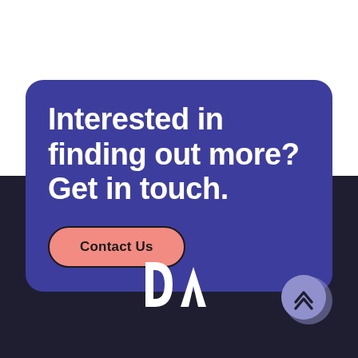[Figure (infographic): A rounded purple/indigo card on a split white-and-dark background. The card contains the heading 'Interested in finding out more? Get in touch.' in white bold text, and a salmon/coral rounded pill button labeled 'Contact Us' in black bold text.]
[Figure (logo): A 'dA' logo in white on dark background, representing a company or brand.]
[Figure (illustration): A circular scroll-to-top button in muted purple/lavender with double up-chevron arrows, with a slightly offset shadow circle behind it.]